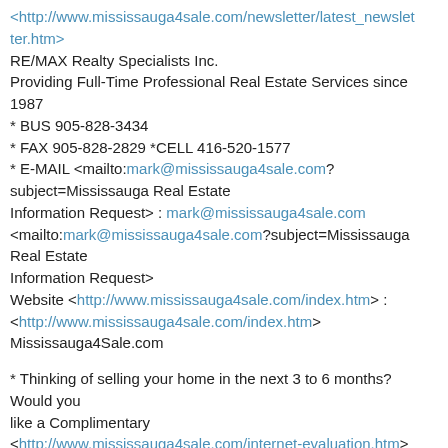<http://www.mississauga4sale.com/newsletter/latest_newsletter.htm>
RE/MAX Realty Specialists Inc.
Providing Full-Time Professional Real Estate Services since 1987
* BUS 905-828-3434
* FAX 905-828-2829 *CELL 416-520-1577
* E-MAIL <mailto:mark@mississauga4sale.com?subject=Mississauga Real Estate Information Request> : mark@mississauga4sale.com <mailto:mark@mississauga4sale.com?subject=Mississauga Real Estate Information Request>
Website <http://www.mississauga4sale.com/index.htm> : <http://www.mississauga4sale.com/index.htm> Mississauga4Sale.com
* Thinking of selling your home in the next 3 to 6 months? Would you like a Complimentary <http://www.mississauga4sale.com/internet-evaluation.htm>